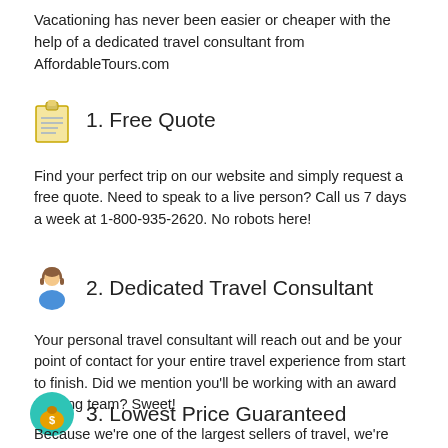Vacationing has never been easier or cheaper with the help of a dedicated travel consultant from AffordableTours.com
1. Free Quote
Find your perfect trip on our website and simply request a free quote. Need to speak to a live person? Call us 7 days a week at 1-800-935-2620. No robots here!
2. Dedicated Travel Consultant
Your personal travel consultant will reach out and be your point of contact for your entire travel experience from start to finish. Did we mention you'll be working with an award winning team? Sweet!
3. Lowest Price Guaranteed
Because we're one of the largest sellers of travel, we're able to give you a discount on your vacation package. No one beats our